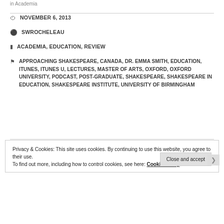in Academia
NOVEMBER 6, 2013
SWROCHELEAU
ACADEMIA, EDUCATION, REVIEW
APPROACHING SHAKESPEARE, CANADA, DR. EMMA SMITH, EDUCATION, ITUNES, ITUNES U, LECTURES, MASTER OF ARTS, OXFORD, OXFORD UNIVERSITY, PODCAST, POST-GRADUATE, SHAKESPEARE, SHAKESPEARE IN EDUCATION, SHAKESPEARE INSTITUTE, UNIVERSITY OF BIRMINGHAM
Privacy & Cookies: This site uses cookies. By continuing to use this website, you agree to their use. To find out more, including how to control cookies, see here: Cookie Policy
Close and accept